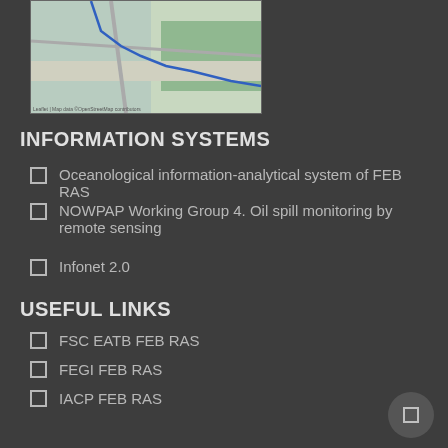[Figure (map): Street/city map showing a blue route line over a city area with green park region]
INFORMATION SYSTEMS
Oceanological information-analytical system of FEB RAS
NOWPAP Working Group 4. Oil spill monitoring by remote sensing
Infonet 2.0
USEFUL LINKS
FSC EATB FEB RAS
FEGI FEB RAS
IACP FEB RAS
NSCMB FEB RAS
IAM FEB RAS
ICH FEB RAS
PIBOC FEB RAS
POI FEB RAS